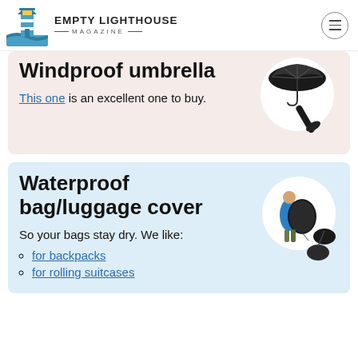EMPTY LIGHTHOUSE MAGAZINE
Windproof umbrella
This one is an excellent one to buy.
[Figure (photo): Black windproof umbrella, shown open and collapsed]
Waterproof bag/luggage cover
So your bags stay dry. We like:
[Figure (photo): Person wearing a backpack with waterproof cover, and separate luggage covers]
for backpacks
for rolling suitcases